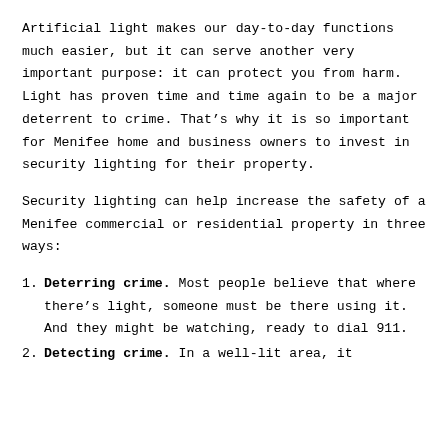Artificial light makes our day-to-day functions much easier, but it can serve another very important purpose: it can protect you from harm. Light has proven time and time again to be a major deterrent to crime. That’s why it is so important for Menifee home and business owners to invest in security lighting for their property.
Security lighting can help increase the safety of a Menifee commercial or residential property in three ways:
Deterring crime. Most people believe that where there’s light, someone must be there using it. And they might be watching, ready to dial 911.
Detecting crime. In a well-lit area, it